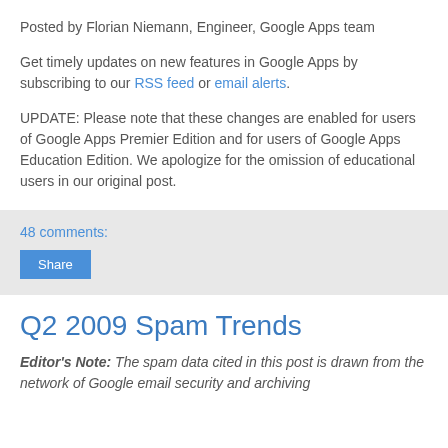Posted by Florian Niemann, Engineer, Google Apps team
Get timely updates on new features in Google Apps by subscribing to our RSS feed or email alerts.
UPDATE: Please note that these changes are enabled for users of Google Apps Premier Edition and for users of Google Apps Education Edition. We apologize for the omission of educational users in our original post.
48 comments:
Share
Q2 2009 Spam Trends
Editor's Note: The spam data cited in this post is drawn from the network of Google email security and archiving